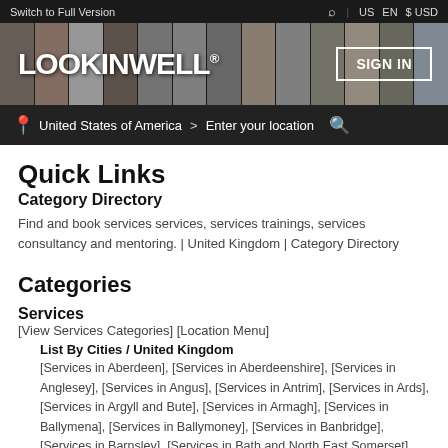Switch to Full Version  US  EN  $ USD
[Figure (logo): LOOKINWELL logo on dark banner with photo collage background and SIGN IN button]
United States of America > Enter your location
Quick Links
Category Directory
Find and book services services, services trainings, services consultancy and mentoring. | United Kingdom | Category Directory
Categories
Services
[View Services Categories] [Location Menu]
List By Cities / United Kingdom
[Services in Aberdeen],  [Services in Aberdeenshire],  [Services in Anglesey],  [Services in Angus],  [Services in Antrim],  [Services in Ards], [Services in Argyll and Bute],  [Services in Armagh],  [Services in Ballymena],  [Services in Ballymoney],  [Services in Banbridge], [Services in Barnsley],  [Services in Bath and North East Somerset], [Services in Bedford],  [Services in Belfast],  [Services in Birmingham], [Services in Blackburn with Darwen],  [Services in Blackpool],  [Services